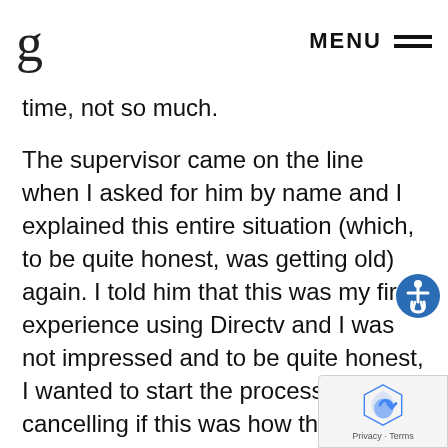g  MENU
time, not so much.
The supervisor came on the line when I asked for him by name and I explained this entire situation (which, to be quite honest, was getting old) again. I told him that this was my first experience using Directv and I was not impressed and to be quite honest, I wanted to start the process for cancelling if this was how they treated their customers.